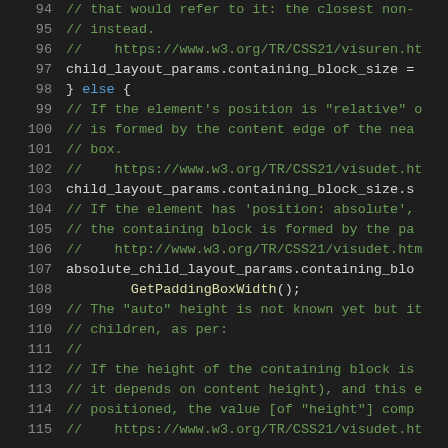[Figure (screenshot): Source code viewer showing lines 94-115 of a C++ file with syntax highlighting. Dark background with colored text: line numbers in gray, comments in green, keywords in blue, function calls in yellow, normal code in white/light.]